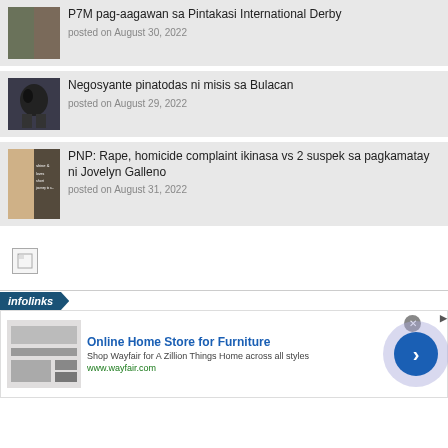P7M pag-aagawan sa Pintakasi International Derby
posted on August 30, 2022
Negosyante pinatodas ni misis sa Bulacan
posted on August 29, 2022
PNP: Rape, homicide complaint ikinasa vs 2 suspek sa pagkamatay ni Jovelyn Galleno
posted on August 31, 2022
[Figure (screenshot): Broken image placeholder icon]
[Figure (infographic): Infolinks advertisement banner for Wayfair Online Home Store for Furniture. Shows furniture image, title 'Online Home Store for Furniture', description 'Shop Wayfair for A Zillion Things Home across all styles', URL www.wayfair.com, close button, and arrow navigation button.]